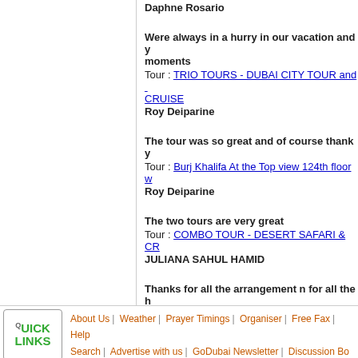Daphne Rosario
Were always in a hurry in our vacation and y... moments
Tour : TRIO TOURS - DUBAI CITY TOUR and CRUISE
Roy Deiparine
The tour was so great and of course thank y...
Tour : Burj Khalifa At the Top view 124th floor w...
Roy Deiparine
The two tours are very great
Tour : COMBO TOUR - DESERT SAFARI & CR...
JULIANA SAHUL HAMID
Thanks for all the arrangement n for all the h...
Tour : TRIO TOURS - DUBAI CITY TOUR and CRUISE
Kruti Dave
About Us | Weather | Prayer Timings | Organiser | Free Fax | Help
Search | Advertise with us | GoDubai Newsletter | Discussion Bo...